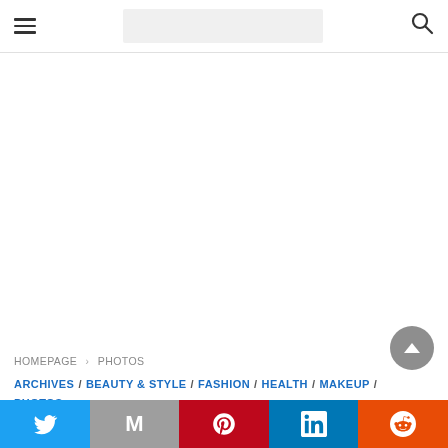Navigation header with hamburger menu, logo placeholder, and search icon
[Figure (other): White advertisement/content area]
HOMEPAGE › PHOTOS
ARCHIVES / BEAUTY & STYLE / FASHION / HEALTH / MAKEUP / PHOTOS
[Figure (other): Back to top button - grey circle with upward triangle]
Share bar with Twitter, Gmail/M, Pinterest, LinkedIn, Reddit icons